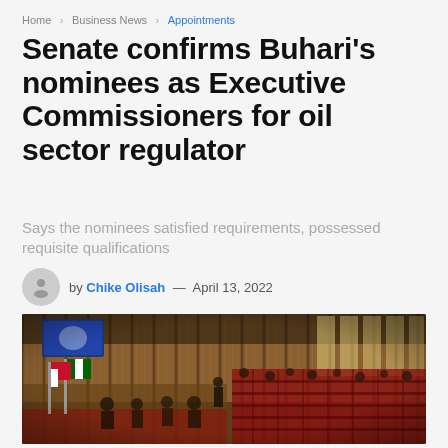Home > Business News > Appointments
Senate confirms Buhari’s nominees as Executive Commissioners for oil sector regulator
Says the nominees satisfied requirements, possessed requisite qualifications
by Chike Olisah — April 13, 2022
[Figure (photo): Interior of the Nigerian Senate chamber showing rows of red seats with senators and officials present, wood-paneled walls, Nigerian flags, and a TV screen in the background.]